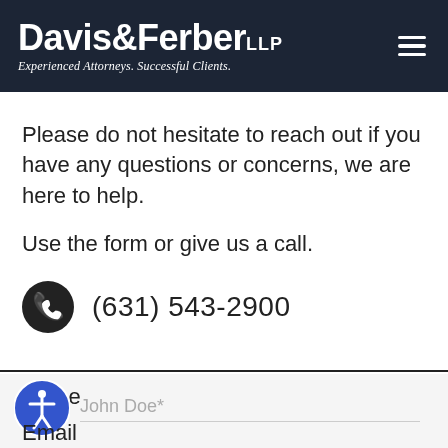[Figure (logo): Davis & Ferber LLP law firm logo with tagline 'Experienced Attorneys. Successful Clients.' on dark navy background with hamburger menu icon]
Please do not hesitate to reach out if you have any questions or concerns, we are here to help.
Use the form or give us a call.
(631) 543-2900
Name
John Doe*
Email